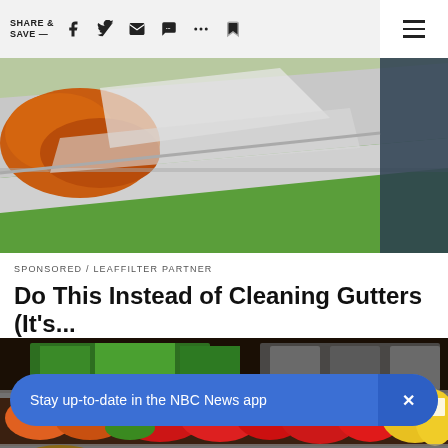SHARE & SAVE —
[Figure (photo): Close-up photo of a gutter with orange debris/leaves being cleaned, showing a green lawn below and a metal gutter/ladder structure]
SPONSORED / LEAFFILTER PARTNER
Do This Instead of Cleaning Gutters (It's...
[Figure (photo): Grocery store produce section showing colorful vegetables including red and yellow bell peppers, various greens, and other fresh produce on refrigerated shelves]
Stay up-to-date in the NBC News app